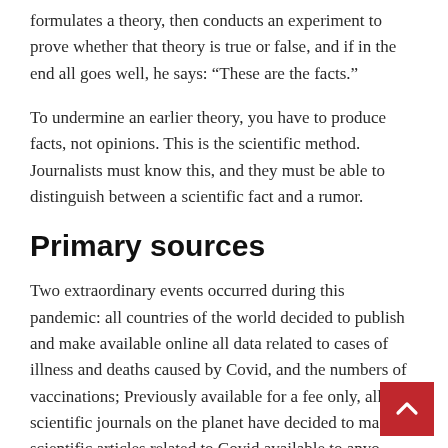formulates a theory, then conducts an experiment to prove whether that theory is true or false, and if in the end all goes well, he says: “These are the facts.”
To undermine an earlier theory, you have to produce facts, not opinions. This is the scientific method. Journalists must know this, and they must be able to distinguish between a scientific fact and a rumor.
Primary sources
Two extraordinary events occurred during this pandemic: all countries of the world decided to publish and make available online all data related to cases of illness and deaths caused by Covid, and the numbers of vaccinations; Previously available for a fee only, all scientific journals on the planet have decided to make scientific articles related to Covid available to anyone, precisely because of the exceptional medical and human